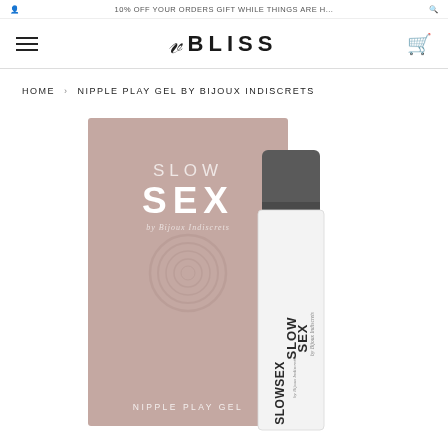VO BLISS
HOME › NIPPLE PLAY GEL BY BIJOUX INDISCRETS
[Figure (photo): Product photo of Slow Sex Nipple Play Gel by Bijoux Indiscrets — showing a mauve/rose-colored box with SLOW SEX text and a small tube bottle side by side. The box reads 'SLOW SEX by Bijoux Indiscrets' and 'NIPPLE PLAY GEL' at the bottom. The tube has a dark charcoal cap and a white body with 'SLOW SEX by Bijoux Indiscrets' text.]